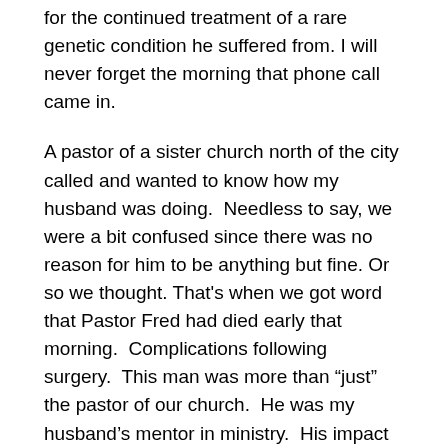for the continued treatment of a rare genetic condition he suffered from. I will never forget the morning that phone call came in.
A pastor of a sister church north of the city called and wanted to know how my husband was doing.  Needless to say, we were a bit confused since there was no reason for him to be anything but fine. Or so we thought. That's when we got word that Pastor Fred had died early that morning.  Complications following surgery.  This man was more than “just” the pastor of our church.  He was my husband’s mentor in ministry.  His impact on my husband’s life was so powerful that my son bears the middle name “Frederick” in his honor.  Pastor Fred had two boys still in the youth group and his oldest was in college.  “Our kids” lost two very significant individuals in just a few weeks.  They were reeling.
Fast forward five years – I was helping to “run” the music